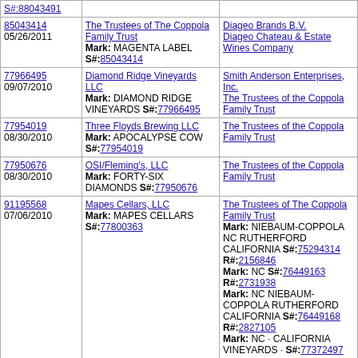| Serial/Date | Applicant / Mark / S# | Defendant / Mark / S# / R# |
| --- | --- | --- |
| 85043414
05/26/2011 | The Trustees of The Coppola Family Trust
Mark: MAGENTA LABEL
S#:85043414 | Diageo Brands B.V.
Diageo Chateau & Estate Wines Company |
| 77966495
09/07/2010 | Diamond Ridge Vineyards LLC
Mark: DIAMOND RIDGE VINEYARDS S#:77966495 | Smith Anderson Enterprises, Inc.
The Trustees of the Coppola Family Trust |
| 77954019
08/30/2010 | Three Floyds Brewing LLC
Mark: APOCALYPSE COW
S#:77954019 | The Trustees of the Coppola Family Trust |
| 77950676
08/30/2010 | OSI/Fleming's, LLC
Mark: FORTY-SIX DIAMONDS S#:77950676 | The Trustees of the Coppola Family Trust |
| 91195568
07/06/2010 | Mapes Cellars, LLC
Mark: MAPES CELLARS
S#:77800363 | The Trustees of The Coppola Family Trust
Mark: NIEBAUM-COPPOLA NC RUTHERFORD CALIFORNIA S#:75294314
R#:2156846
Mark: NC S#:76449163
R#:2731938
Mark: NC NIEBAUM-COPPOLA RUTHERFORD CALIFORNIA S#:76449168
R#:2827105
Mark: NC · CALIFORNIA VINEYARDS · S#:77372497 |